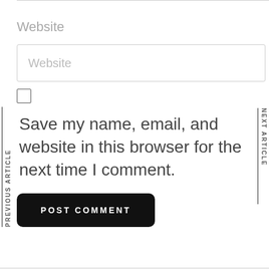Website
[Figure (other): Website input text field with placeholder text 'Website']
Save my name, email, and website in this browser for the next time I comment.
POST COMMENT
PREVIOUS ARTICLE
NEXT ARTICLE